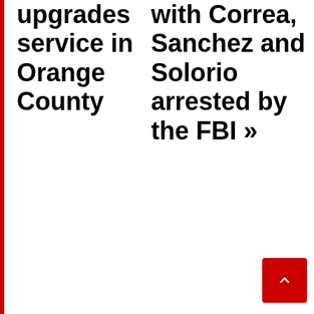upgrades service in Orange County
with Correa, Sanchez and Solorio arrested by the FBI »